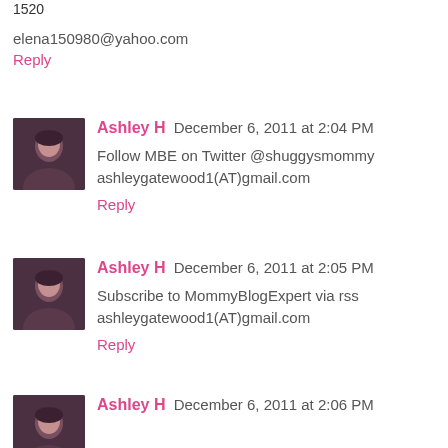1520
elena150980@yahoo.com
Reply
Ashley H December 6, 2011 at 2:04 PM
Follow MBE on Twitter @shuggysmommy ashleygatewood1(AT)gmail.com
Reply
Ashley H December 6, 2011 at 2:05 PM
Subscribe to MommyBlogExpert via rss ashleygatewood1(AT)gmail.com
Reply
Ashley H December 6, 2011 at 2:06 PM